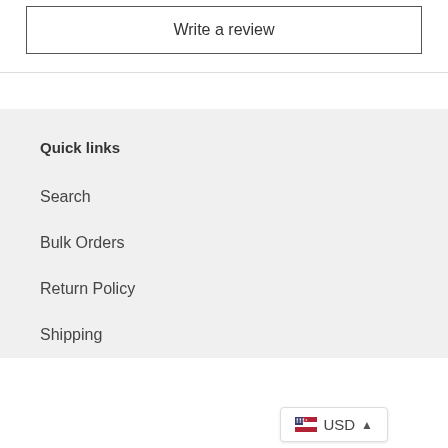Write a review
Quick links
Search
Bulk Orders
Return Policy
Shipping
USD